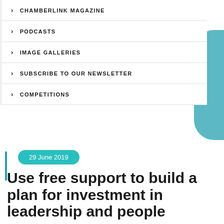CHAMBERLINK MAGAZINE
PODCASTS
IMAGE GALLERIES
SUBSCRIBE TO OUR NEWSLETTER
COMPETITIONS
29 June 2019
Use free support to build a plan for investment in leadership and people